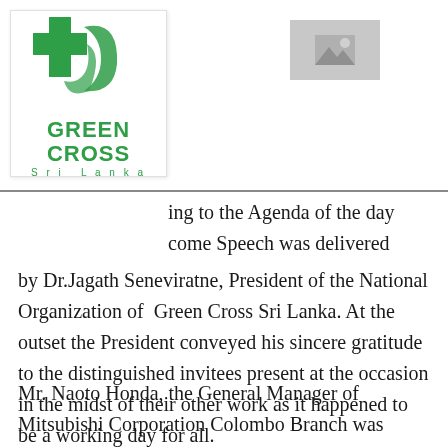[Figure (logo): Green Cross Sri Lanka logo: green cross symbol with circular leaf/swoosh design, text GREEN CROSS in bold green, Sri Lanka in smaller green text below]
[Figure (photo): Small grey placeholder image thumbnail in upper right area]
ing to the Agenda of the day come Speech was delivered by Dr.Jagath Seneviratne, President of the National Organization of  Green Cross Sri Lanka.  At the outset the President conveyed his sincere gratitude to the distinguished invitees present at the occasion in the midst of their other work as it happened to be a working day for all.
Mr. Naoto Honda, the General Manager of Mitsubishi Corporation Colombo Branch was invited to